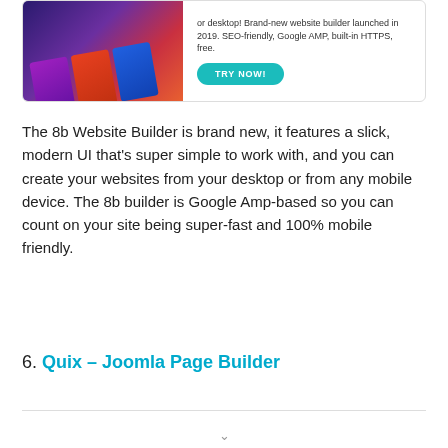[Figure (illustration): Advertisement banner for 8b Website Builder showing colorful book/card graphics on the left and text with a teal 'TRY NOW!' button on the right. Text reads: 'or desktop! Brand-new website builder launched in 2019. SEO-friendly, Google AMP, built-in HTTPS, free.']
The 8b Website Builder is brand new, it features a slick, modern UI that's super simple to work with, and you can create your websites from your desktop or from any mobile device. The 8b builder is Google Amp-based so you can count on your site being super-fast and 100% mobile friendly.
6. Quix – Joomla Page Builder